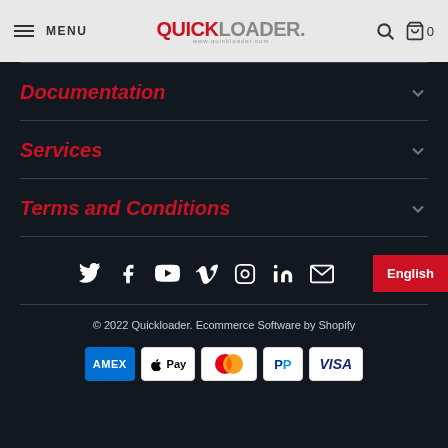MENU | QUICKLOADER | Search | Cart 0
Documentation
Services
Terms and Conditions
[Figure (infographic): Social media icons row: Twitter, Facebook, YouTube, Vimeo, Instagram, LinkedIn, Email. Language button: English.]
© 2022 Quickloader. Ecommerce Software by Shopify
[Figure (infographic): Payment method badges: AMEX, Apple Pay, Mastercard, PayPal, VISA]